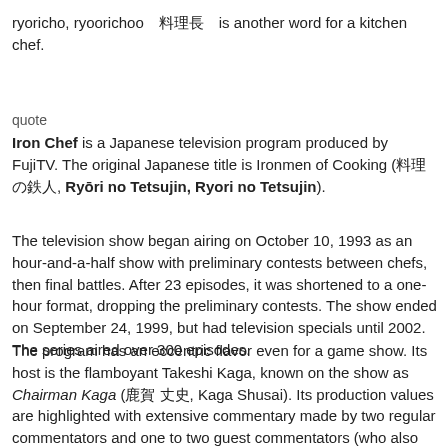ryoricho, ryoorichoo　料理長　is another word for a kitchen chef.
quote
Iron Chef is a Japanese television program produced by FujiTV. The original Japanese title is Ironmen of Cooking (料理の鉄人, Ryōri no Tetsujin, Ryori no Tetsujin).
The television show began airing on October 10, 1993 as an hour-and-a-half show with preliminary contests between chefs, then final battles. After 23 episodes, it was shortened to a one-hour format, dropping the preliminary contests. The show ended on September 24, 1999, but had television specials until 2002. The series aired over 300 episodes.
The program has an eccentric flavor even for a game show. Its host is the flamboyant Takeshi Kaga, known on the show as Chairman Kaga (鹿賀 丈史, Kaga Shusai). Its production values are highlighted with extensive commentary made by two regular commentators and one to two guest commentators (who also serve as judges). The commentary presents